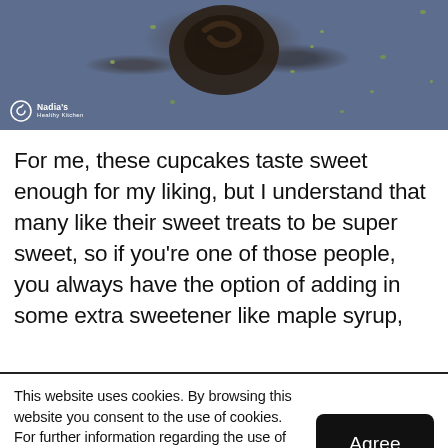[Figure (photo): Dark blue-gray slate background with a chocolate cupcake/brownie and scattered green pistachio pieces. Nadia's Healthy Kitchen logo in white at bottom-left of image.]
For me, these cupcakes taste sweet enough for my liking, but I understand that many like their sweet treats to be super sweet, so if you're one of those people, you always have the option of adding in some extra sweetener like maple syrup,
This website uses cookies. By browsing this website you consent to the use of cookies. For further information regarding the use of cookies please read our Privacy Policy.